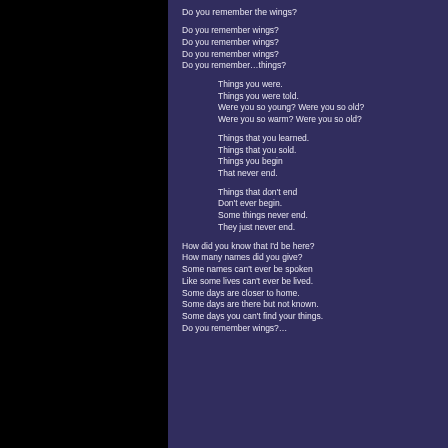Do you remember the wings?
Do you remember wings?
Do you remember wings?
Do you remember wings?
Do you remember…things?
Things you were.
Things you were told.
Were you so young?  Were you so old?
Were you so warm?  Were you so old?
Things that you learned.
Things that you sold.
Things you begin
That never end.
Things that don't end
Don't ever begin.
Some things never end.
They just never end.
How did you know that I'd be here?
How many names did you give?
Some names can't ever be spoken
Like some lives can't ever be lived.
Some days are closer to home.
Some days are there but not known.
Some days you can't find your things.
Do you remember wings?…